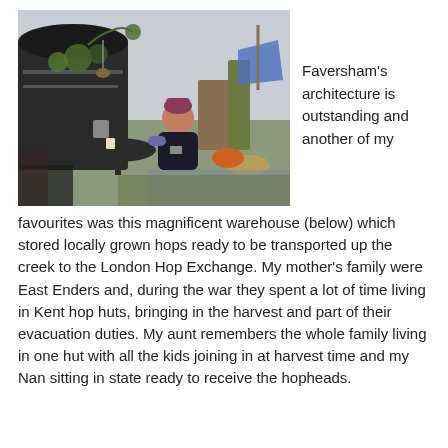[Figure (photo): Outdoor scene near a waterway: a person sitting at a round table beside a dark-painted boat or building with plants and hanging items, with boats and water visible in the background.]
Faversham's architecture is outstanding and another of my favourites was this magnificent warehouse (below) which stored locally grown hops ready to be transported up the creek to the London Hop Exchange.  My mother's family were East Enders and, during the war they spent a lot of time living in Kent hop huts, bringing in the harvest and part of their evacuation duties.  My aunt remembers the whole family living in one hut with all the kids joining in at harvest time and my Nan sitting in state ready to receive the hopheads.